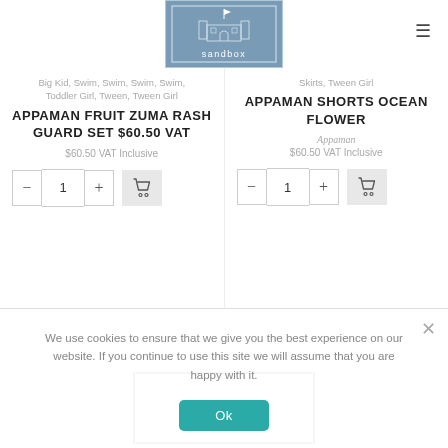[Figure (logo): Sandbox store logo - blue/steel colored box with illustrated castle/building and 'sandbox' text]
Big Kid, Swim, Swim, Swim, Swim, Toddler Girl, Tween, Tween Girl
APPAMAN FRUIT ZUMA RASH GUARD SET $60.50 VAT
$60.50 VAT Inclusive
Skirts, Tween Girl
APPAMAN SHORTS OCEAN FLOWER
Appaman
$60.50 VAT Inclusive
We use cookies to ensure that we give you the best experience on our website. If you continue to use this site we will assume that you are happy with it.